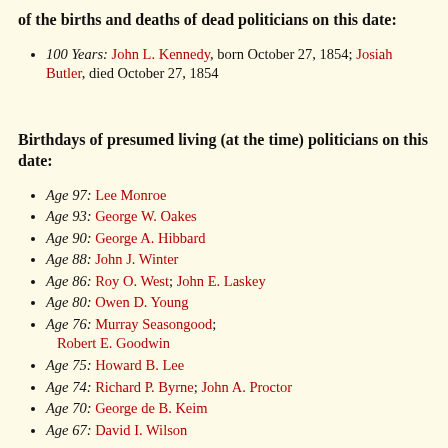of the births and deaths of dead politicians on this date:
100 Years: John L. Kennedy, born October 27, 1854; Josiah Butler, died October 27, 1854
Birthdays of presumed living (at the time) politicians on this date:
Age 97: Lee Monroe
Age 93: George W. Oakes
Age 90: George A. Hibbard
Age 88: John J. Winter
Age 86: Roy O. West; John E. Laskey
Age 80: Owen D. Young
Age 76: Murray Seasongood; Robert E. Goodwin
Age 75: Howard B. Lee
Age 74: Richard P. Byrne; John A. Proctor
Age 70: George de B. Keim
Age 67: David I. Wilson